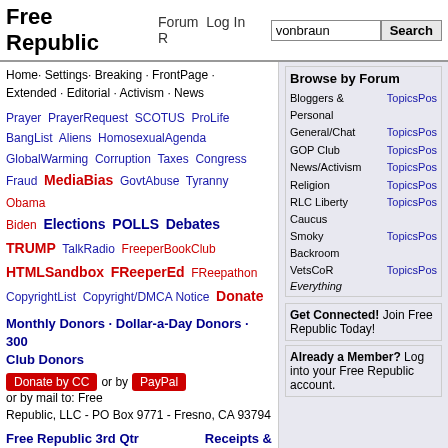Free Republic  Forum  Log In  Register  vonbraun  Search
Home · Settings · Breaking · FrontPage · Extended · Editorial · Activism · News
Prayer PrayerRequest SCOTUS ProLife BangList Aliens HomosexualAgenda GlobalWarming Corruption Taxes Congress Fraud MediaBias GovtAbuse Tyranny Obama Biden Elections POLLS Debates TRUMP TalkRadio FreeperBookClub HTMLSandbox FReeperEd FReepathon CopyrightList Copyright/DMCA Notice Donate
Monthly Donors · Dollar-a-Day Donors · 300 Club Donors
Donate by CC or by PayPal or by mail to: Free Republic, LLC - PO Box 9771 - Fresno, CA 93794
Free Republic 3rd Qtr 2022 Fundraising Target: $80,000  Receipts & Pledges to-date: $35,116
[Figure (other): Progress bar showing 43% fundraising completion, red fill on left, white on right, blue border]
Browse by Forum
| Forum | Links |
| --- | --- |
| Bloggers & Personal | TopicsPos |
| General/Chat | TopicsPos |
| GOP Club | TopicsPos |
| News/Activism | TopicsPos |
| Religion | TopicsPos |
| RLC Liberty Caucus | TopicsPos |
| Smoky Backroom | TopicsPos |
| VetsCoR | TopicsPos |
| Everything |  |
Get Connected! Join Free Republic Today!
Already a Member? Log into your Free Republic account.